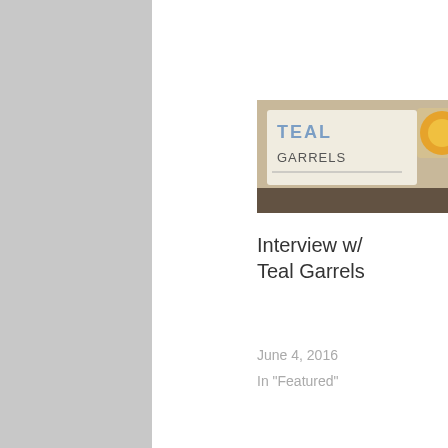In "Featured"
[Figure (photo): Thumbnail image showing a handwritten sign reading 'TEAL GARRELS']
Interview w/ Teal Garrels
June 4, 2016
In "Featured"
Author: Rob Patrick
The program director of the Olympia Film Society, Rob is also a former San Diego Film Critics Society member. He has written for The East County